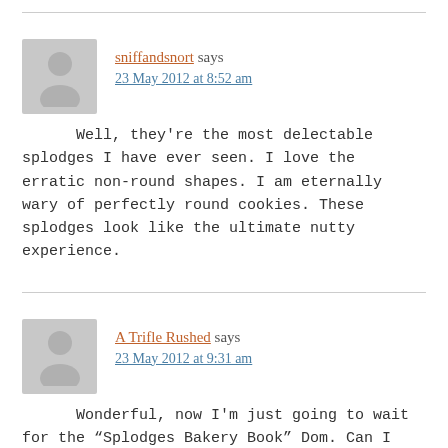sniffandsnort says
23 May 2012 at 8:52 am

Well, they're the most delectable splodges I have ever seen. I love the erratic non-round shapes. I am eternally wary of perfectly round cookies. These splodges look like the ultimate nutty experience.
A Trifle Rushed says
23 May 2012 at 9:31 am

Wonderful, now I'm just going to wait for the “Splodges Bakery Book” Dom. Can I have a signed copy?